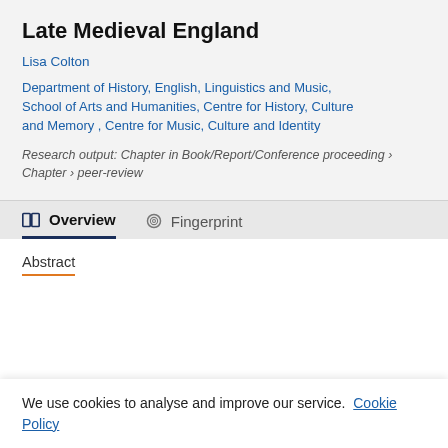Late Medieval England
Lisa Colton
Department of History, English, Linguistics and Music, School of Arts and Humanities, Centre for History, Culture and Memory , Centre for Music, Culture and Identity
Research output: Chapter in Book/Report/Conference proceeding › Chapter › peer-review
Overview
Fingerprint
Abstract
We use cookies to analyse and improve our service. Cookie Policy